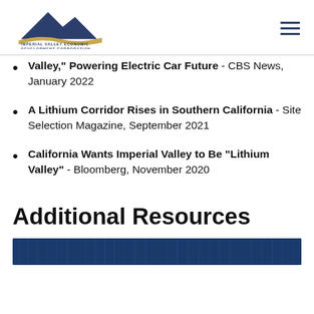IVEDC - Imperial Valley Economic Development Corporation
Valley," Powering Electric Car Future - CBS News, January 2022
A Lithium Corridor Rises in Southern California - Site Selection Magazine, September 2021
California Wants Imperial Valley to Be "Lithium Valley" - Bloomberg, November 2020
Additional Resources
[Figure (photo): Blue-toned background image partially visible at bottom of page]